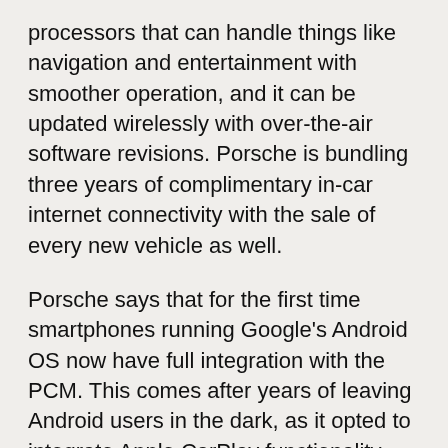processors that can handle things like navigation and entertainment with smoother operation, and it can be updated wirelessly with over-the-air software revisions. Porsche is bundling three years of complimentary in-car internet connectivity with the sale of every new vehicle as well.
Porsche says that for the first time smartphones running Google's Android OS now have full integration with the PCM. This comes after years of leaving Android users in the dark, as it opted to integrate Apple CarPlay functionality first. Porsche's infotainment system connects to Android Auto via a USB cable, rather than wireless connectivity.